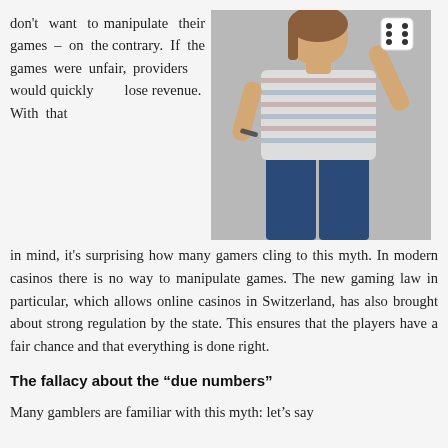don't want to manipulate their games – on the contrary. If the games were unfair, providers would quickly lose revenue. With that
[Figure (photo): A young woman from behind holding a white die, wearing a striped tank top and jeans, against a gray background.]
in mind, it's surprising how many gamers cling to this myth. In modern casinos there is no way to manipulate games. The new gaming law in particular, which allows online casinos in Switzerland, has also brought about strong regulation by the state. This ensures that the players have a fair chance and that everything is done right.
The fallacy about the “due numbers”
Many gamblers are familiar with this myth: let’s say